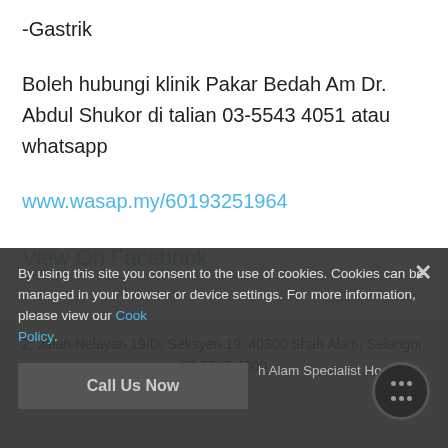-Gastrik
Boleh hubungi klinik Pakar Bedah Am Dr. Abdul Shukor di talian 03-5543 4051 atau whatsapp
www.wasap.my/60193251964
View On Facebook
2, Jalan Nelayan 19/D, Seksyen 19, 40300 Shah Alam, Selangor.
03-5543 4000
By using this site you consent to the use of cookies. Cookies can be managed in your browser or device settings. For more information, please view our Cookie Policy.
Call Us Now
h Alam Specialist Hospital